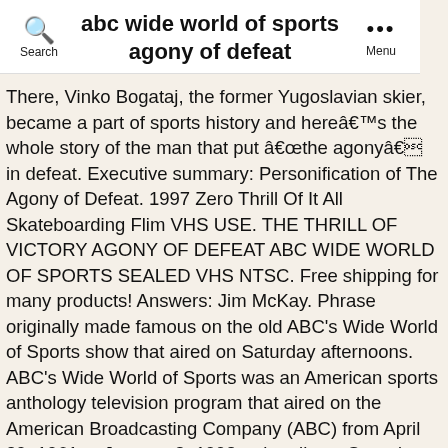abc wide world of sports agony of defeat
There, Vinko Bogataj, the former Yugoslavian skier, became a part of sports history and hereâs the whole story of the man that put âthe agonyâ in defeat. Executive summary: Personification of The Agony of Defeat. 1997 Zero Thrill Of It All Skateboarding Flim VHS USE. THE THRILL OF VICTORY AGONY OF DEFEAT ABC WIDE WORLD OF SPORTS SEALED VHS NTSC. Free shipping for many products! Answers: Jim McKay. Phrase originally made famous on the old ABC’s Wide World of Sports show that aired on Saturday afternoons. ABC’s Wide World of Sports was an American sports anthology television program that aired on the American Broadcasting Company (ABC) from April 29, 1961 to January 3, 1998, primarily on Saturday afternoons. Wide World of Sports ABCâs Wide World of Sports will always be remembered for one line: âThe Thrill of Victory and the Agony of Defeatâ. Background Edit. A light snow